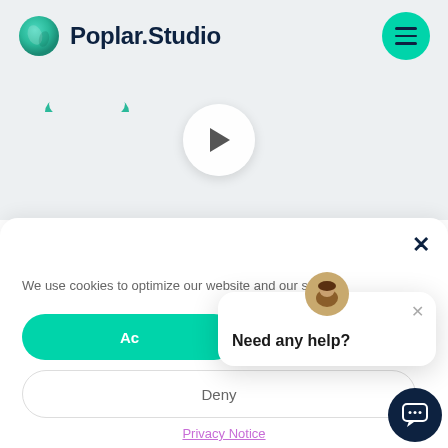[Figure (screenshot): Poplar.Studio website navbar with teal sphere logo, brand name, and teal hamburger menu button on light grey background]
[Figure (screenshot): Partial teal shape and a circular play button on grey background section]
[Figure (screenshot): Cookie consent banner with close X button, accept button (teal), deny button, and Privacy Notice link]
[Figure (screenshot): Chat widget popup with avatar, close X, and 'Need any help?' text, plus dark navy chat bubble button]